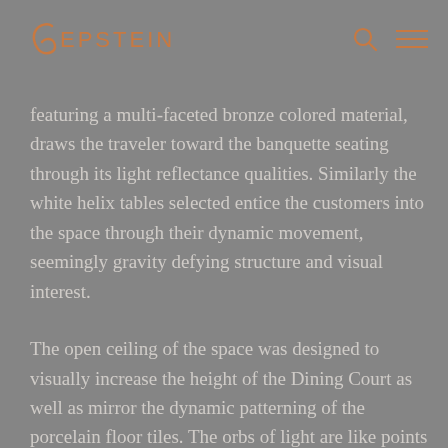EPSTEIN
featuring a multi-faceted bronze colored material, draws the traveler toward the banquette seating through its light reflectance qualities. Similarly the white helix tables selected entice the customers into the space through their dynamic movement, seemingly gravity defying structure and visual interest.
The open ceiling of the space was designed to visually increase the height of the Dining Court as well as mirror the dynamic patterning of the porcelain floor tiles. The orbs of light are like points of travel as graphically portrayed in the glass wall of the two-story portion of the Dining Court. The furnishings were also carefully selected for durability, comfort and elegance. All of the design elements were chosen to create a customer experience of